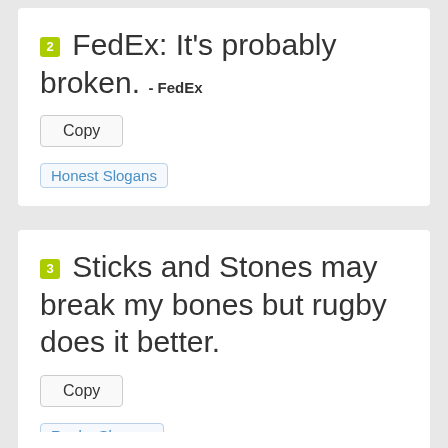2 FedEx: It's probably broken. - FedEx
Copy
Honest Slogans
3 Sticks and Stones may break my bones but rugby does it better.
Copy
Rugby Slogans